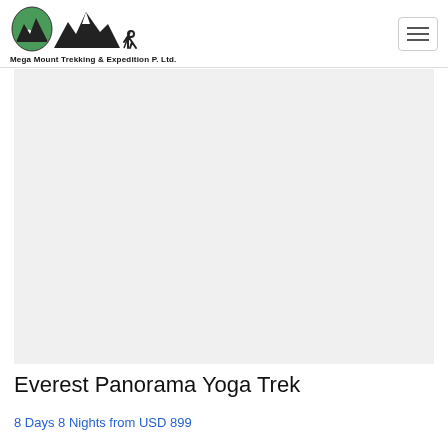Mega Mount Trekking & Expedition P. Ltd.
[Figure (photo): Large hero image area for Everest Panorama Yoga Trek, currently blank/white placeholder]
Everest Panorama Yoga Trek
8 Days 8 Nights from USD 899